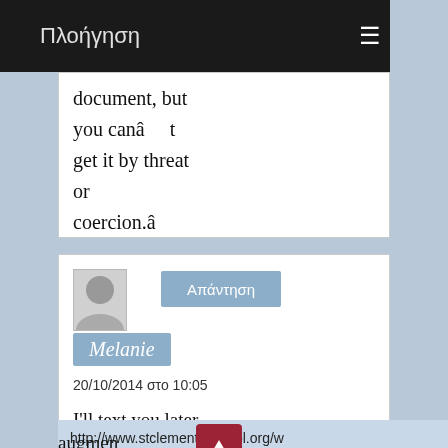Πλοήγηση
document, but you canâ    t get it by threat or coercion.â
Απάντηση
Melanie
20/10/2014 στο 10:05
I'll text you later
http://www.stclementsschool.org/w list/
augmen